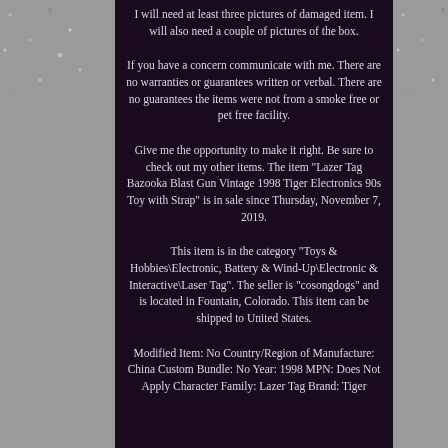I will need at least three pictures of damaged item. I will also need a couple of pictures of the box.
If you have a concern communicate with me. There are no warranties or guarantees written or verbal. There are no guarantees the items were not from a smoke free or pet free facility.
Give me the opportunity to make it right. Be sure to check out my other items. The item "Lazer Tag Bazooka Blast Gun Vintage 1998 Tiger Electronics 90s Toy with Strap" is in sale since Thursday, November 7, 2019.
This item is in the category "Toys & Hobbies\Electronic, Battery & Wind-Up\Electronic & Interactive\Laser Tag". The seller is "cosongdogs" and is located in Fountain, Colorado. This item can be shipped to United States.
Modified Item: No Country/Region of Manufacture: China Custom Bundle: No Year: 1998 MPN: Does Not Apply Character Family: Lazer Tag Brand: Tiger